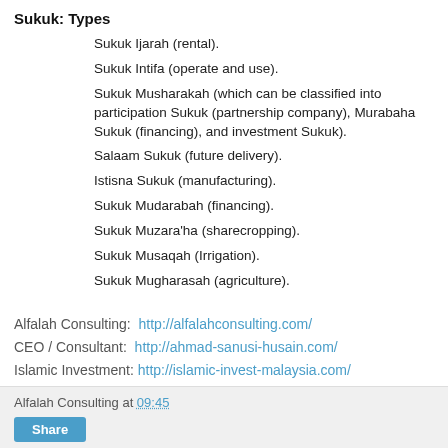Sukuk: Types
Sukuk Ijarah (rental).
Sukuk Intifa (operate and use).
Sukuk Musharakah (which can be classified into participation Sukuk (partnership company), Murabaha Sukuk (financing), and investment Sukuk).
Salaam Sukuk (future delivery).
Istisna Sukuk (manufacturing).
Sukuk Mudarabah (financing).
Sukuk Muzara'ha (sharecropping).
Sukuk Musaqah (Irrigation).
Sukuk Mugharasah (agriculture).
Alfalah Consulting:  http://alfalahconsulting.com/
CEO / Consultant:  http://ahmad-sanusi-husain.com/
Islamic Investment: http://islamic-invest-malaysia.com/
Alfalah Consulting at 09:45
Share